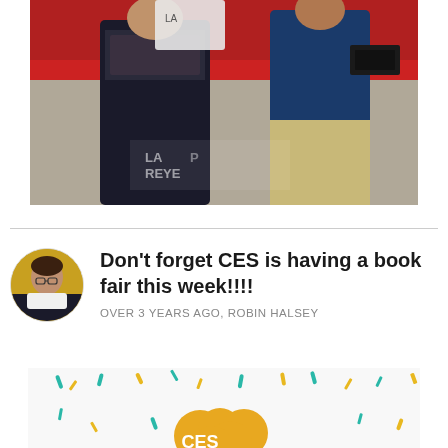[Figure (photo): Two people standing together at an event with a red tablecloth background; one holds a paper/certificate]
Don't forget CES is having a book fair this week!!!!
OVER 3 YEARS AGO, ROBIN HALSEY
[Figure (logo): CES school logo/graphic with colorful confetti pattern and golden cloud shape with 'CES' text]